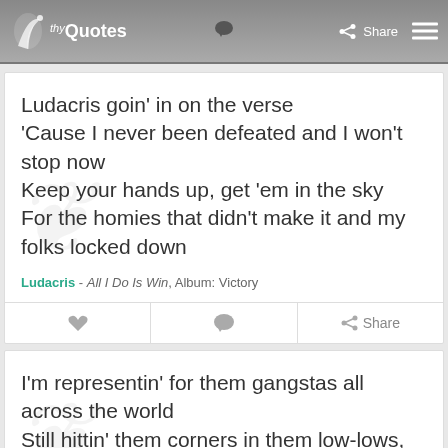thyQuotes - Share
Ludacris goin' in on the verse
'Cause I never been defeated and I won't stop now
Keep your hands up, get 'em in the sky
For the homies that didn't make it and my folks locked down
Ludacris - All I Do Is Win, Album: Victory
I'm representin' for them gangstas all across the world
Still hittin' them corners in them low-lows, girl
Snoop Dogg - Still D.R.E., Album: 2001